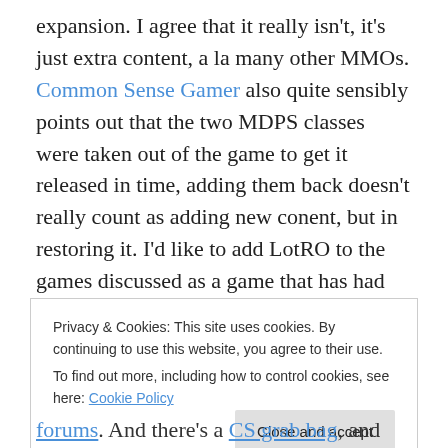expansion. I agree that it really isn't, it's just extra content, a la many other MMOs. Common Sense Gamer also quite sensibly points out that the two MDPS classes were taken out of the game to get it released in time, adding them back doesn't really count as adding new conent, but in restoring it. I'd like to add LotRO to the games discussed as a game that has had frequent content added but in knowing what an expansion really is with Mines of Moria! That's not to say I'm not looking forward to the Land of the Dead and Slayers though.
Privacy & Cookies: This site uses cookies. By continuing to use this website, you agree to their use. To find out more, including how to control cookies, see here: Cookie Policy
Close and accept
forums. And there's a CS grab bag, and there's some